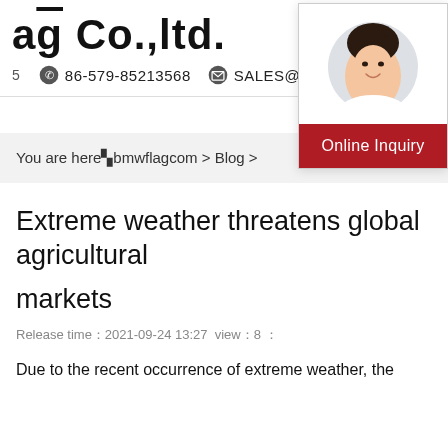ag Co.,ltd.
86-579-85213568   SALES@JTFLAG.COM
You are hereúbmwflagcom > Blog >
[Figure (photo): Circular portrait photo of a young woman smiling, with dark hair pulled back, on a light grey background. Below the photo is a red 'Online Inquiry' button.]
Extreme weather threatens global agricultural markets
Release time：2021-09-24 13:27  view：8 ：
Due to the recent occurrence of extreme weather, the